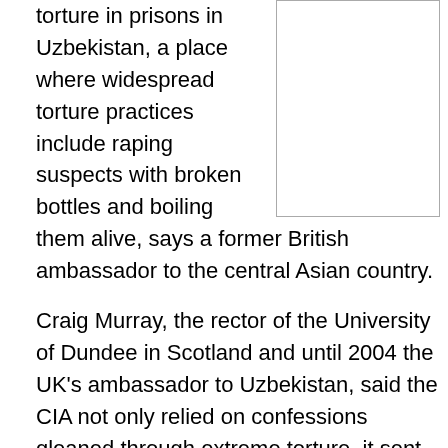[Figure (other): Blank/white image placeholder with border, positioned top-right of the page]
torture in prisons in Uzbekistan, a place where widespread torture practices include raping suspects with broken bottles and boiling them alive, says a former British ambassador to the central Asian country.
Craig Murray, the rector of the University of Dundee in Scotland and until 2004 the UK's ambassador to Uzbekistan, said the CIA not only relied on confessions gleaned through extreme torture, it sent terror war suspects to Uzbekistan as part of its extraordinary rendition program.
“I’m talking of people being raped with broken bottles,” he said at a lecture late last month that was re-broadcast by